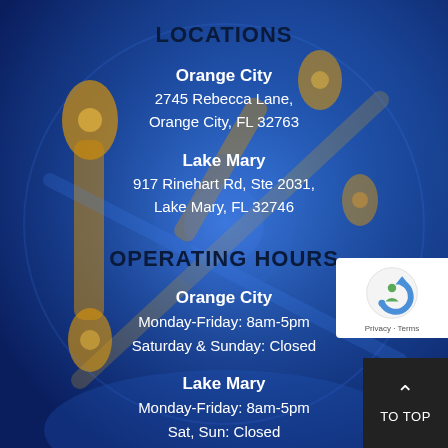[Figure (illustration): X-ray style medical illustration of a human skeleton/joints with blue and orange/gold glowing colors on a dark blue background, suggesting orthopedic or sports medicine context.]
LOCATIONS
Orange City
2745 Rebecca Lane,
Orange City, FL 32763
Lake Mary
917 Rinehart Rd, Ste 2031,
Lake Mary, FL 32746
OPERATING HOURS
Orange City
Monday-Friday: 8am-5pm
Saturday & Sunday: Closed
Lake Mary
Monday-Friday: 8am-5pm
Sat, Sun: Closed
[Figure (logo): reCAPTCHA badge with Google reCAPTCHA logo showing 'Privacy - Terms' text]
[Figure (other): Dark 'TO TOP' scroll-to-top button with upward chevron arrow]